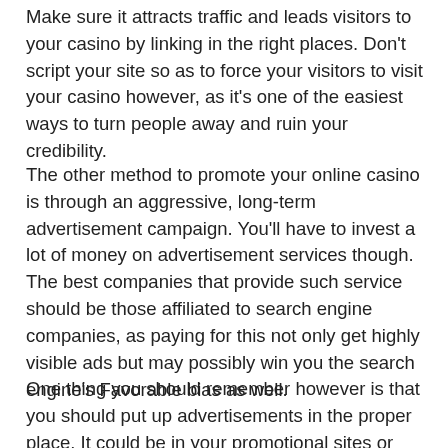Make sure it attracts traffic and leads visitors to your casino by linking in the right places. Don't script your site so as to force your visitors to visit your casino however, as it's one of the easiest ways to turn people away and ruin your credibility.
The other method to promote your online casino is through an aggressive, long-term advertisement campaign. You'll have to invest a lot of money on advertisement services though. The best companies that provide such service should be those affiliated to search engine companies, as paying for this not only get highly visible ads but may possibly win you the search engine's Favorable bias as well.
One thing you should remember however is that you should put up advertisements in the proper place. It could be in your promotional sites or affiliates, but never on those that could potentially wreck your